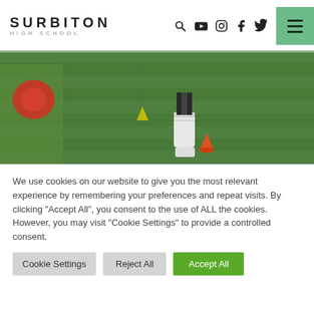SURBITON HIGH SCHOOL
[Figure (photo): Sports field photo showing children's feet/legs on a grass pitch with training cones, a red ball visible on the left side]
We use cookies on our website to give you the most relevant experience by remembering your preferences and repeat visits. By clicking "Accept All", you consent to the use of ALL the cookies. However, you may visit "Cookie Settings" to provide a controlled consent.
Cookie Settings | Reject All | Accept All